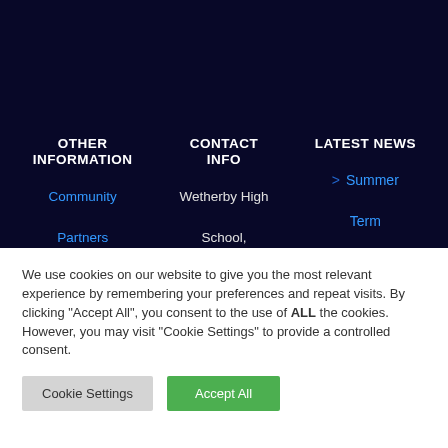OTHER INFORMATION
CONTACT INFO
LATEST NEWS
Community Partners
Wetherby High School,
> Summer Term
We use cookies on our website to give you the most relevant experience by remembering your preferences and repeat visits. By clicking "Accept All", you consent to the use of ALL the cookies. However, you may visit "Cookie Settings" to provide a controlled consent.
Cookie Settings
Accept All